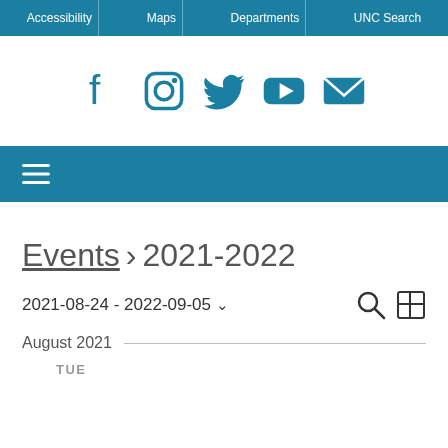Accessibility | Maps | Departments | UNC Search
[Figure (infographic): Social media icons: Facebook, Instagram, Twitter, YouTube, Email in teal/blue color]
[Figure (infographic): Hamburger menu icon (three horizontal white lines) on teal navigation bar]
Events › 2021-2022
2021-08-24 - 2022-09-05
August 2021
TUE